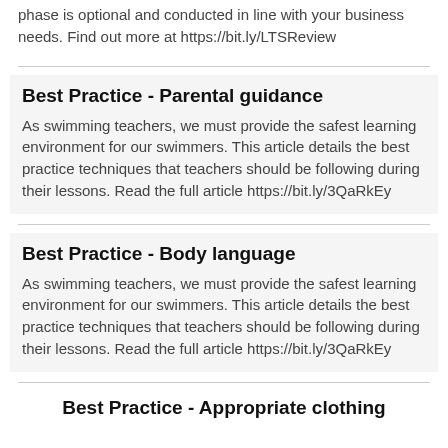phase is optional and conducted in line with your business needs. Find out more at https://bit.ly/LTSReview
Best Practice - Parental guidance
As swimming teachers, we must provide the safest learning environment for our swimmers. This article details the best practice techniques that teachers should be following during their lessons. Read the full article https://bit.ly/3QaRkEy
Best Practice - Body language
As swimming teachers, we must provide the safest learning environment for our swimmers. This article details the best practice techniques that teachers should be following during their lessons. Read the full article https://bit.ly/3QaRkEy
Best Practice - Appropriate clothing